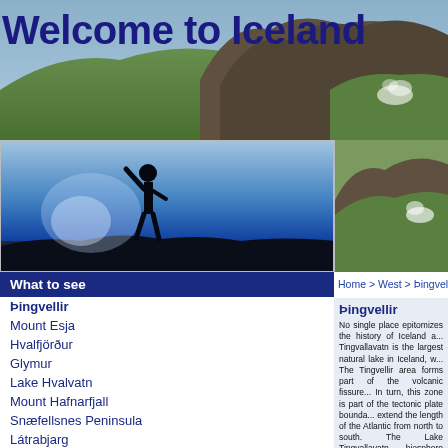Welcome to Iceland
[Figure (photo): Silhouette of a person standing on a rocky outcrop against a bright sky]
[Figure (photo): Icelandic landscape with green hills, rocky cliffs, and steam or mist rising]
Home > West > Þingvellir
What to see
Þingvellir
Mount Esja
Hvalfjörður
Glymur
Lake Hvalvatn
Mount Hafnarfjall
Snæfellsnes Peninsula
Látrabjarg
Westfjords
Þingvellir
No single place epitomizes the history of Iceland as Þingvellir. Tingvallavatn is the largest natural lake in Iceland, w... The Tingvellir area forms part of the volcanic fissure... In turn, this zone is part of the tectonic plate bounda... extend the length of the Atlantic from north to south. The Lake Tingvallavatn biosphere clearly testifies to... between the continents of Europe and America. Þingvallavatn, however, is its fish population. No d... separate species of Arctic charr. The most commo... charr. The piscivorous charr keeps to greater dept... can reach 15 lbs. The benthyvorous charr, typically...